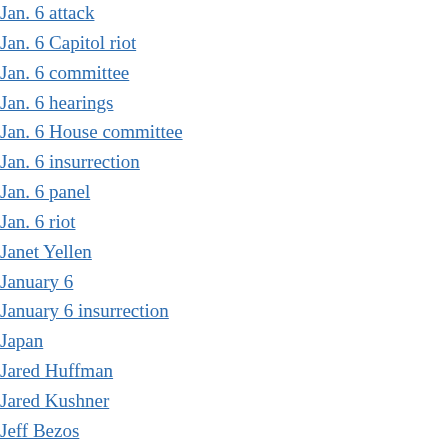Jan. 6 attack
Jan. 6 Capitol riot
Jan. 6 committee
Jan. 6 hearings
Jan. 6 House committee
Jan. 6 insurrection
Jan. 6 panel
Jan. 6 riot
Janet Yellen
January 6
January 6 insurrection
Japan
Jared Huffman
Jared Kushner
Jeff Bezos
Jen Psaki